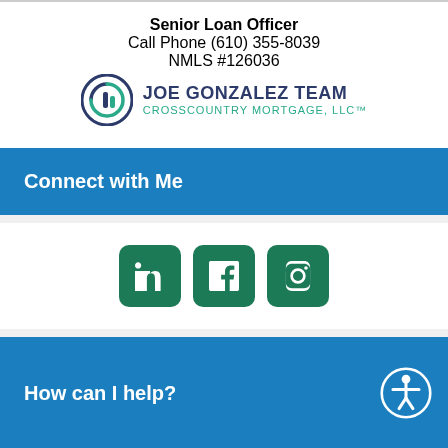Senior Loan Officer
Call Phone (610) 355-8039
NMLS #126036
[Figure (logo): Joe Gonzalez Team CrossCountry Mortgage LLC logo with circular arrow icon]
Connect with Me
[Figure (infographic): Three green social media icons: LinkedIn, Facebook, Instagram]
How can I help?